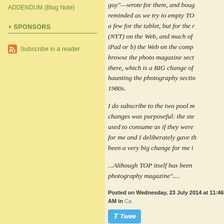ADDENDUM (Blog Note)
+ SPONSORS
Subscribe in a reader
guy"—wrote for them, and bougreminded as we try to empty TOa few for the tablet, but for the (NYT) on the Web, and much ofiPad or b) the Web on the compbrowse the photo magazine sectthere, which is a BIG change ofhaunting the photography secti1980s.
I do subscribe to the two pool mchanges was purposeful: the steused to consume as if they werefor me and I deliberately gave tbeen a very big change for me i
...Although TOP itself has been photography magazine"....
Posted on Wednesday, 23 July 2014 at 11:46 AM in Ca
Twee